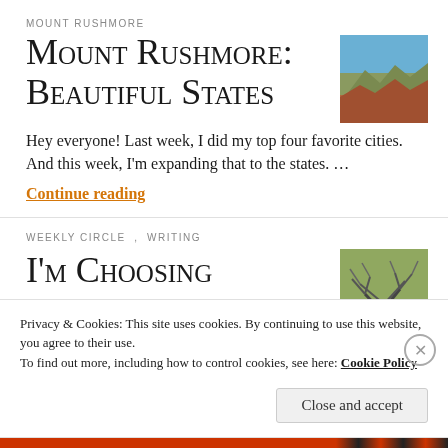MOUNT RUSHMORE
Mount Rushmore: Beautiful States
[Figure (photo): Aerial/landscape photo of red rock formations under blue sky]
Hey everyone! Last week, I did my top four favorite cities. And this week, I'm expanding that to the states. …
Continue reading
WEEKLY CIRCLE, WRITING
I'm Choosing
[Figure (photo): Photo of bare winter tree branches against light sky]
Privacy & Cookies: This site uses cookies. By continuing to use this website, you agree to their use.
To find out more, including how to control cookies, see here: Cookie Policy
Close and accept